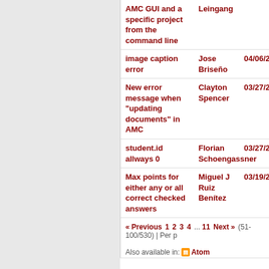| Subject | Author | Date |
| --- | --- | --- |
| AMC GUI and a specific project from the command line | Leingang |  |
| image caption error | Jose Briseño | 04/06/2019 |
| New error message when "updating documents" in AMC | Clayton Spencer | 03/27/2019 |
| student.id allways 0 | Florian Schoengassner | 03/27/2019 |
| Max points for either any or all correct checked answers | Miguel J Ruiz Benítez | 03/19/2019 |
« Previous  1  2  3  4  ...  11  Next »  (51-100/530) | Per p
Also available in:  Atom